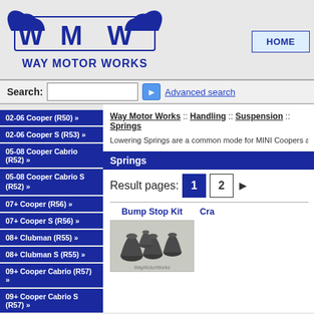[Figure (logo): Way Motor Works logo with winged WMW emblem and text WAY MOTOR WORKS in dark blue]
HOME
Search:
Advanced search
02-06 Cooper (R50) »
02-06 Cooper S (R53) »
05-08 Cooper Cabrio (R52) »
05-08 Cooper Cabrio S (R52) »
07+ Cooper (R56) »
07+ Cooper S (R56) »
08+ Clubman (R55) »
08+ Clubman S (R55) »
09+ Cooper Cabrio (R57) »
09+ Cooper Cabrio S (R57) »
11+ Countryman (R60) »
Way Motor Works :: Handling :: Suspension :: Springs
Lowering Springs are a common mode for MINI Coopers and... Hsport, TSW, H&R, Eibach, JCW, and M7 Tuning. Check ther
Springs
Result pages: 1 2 ▶
Bump Stop Kit
[Figure (photo): Photo of Bump Stop Kit parts - small black rubber bump stops on gray background with Way Motor Works watermark]